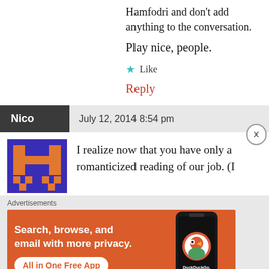Hamfodri and don't add anything to the conversation.
Play nice, people.
★ Like
Reply
Nico   July 12, 2014 8:54 pm
I realize now that you have only a romanticized reading of our job. (I
Advertisements
[Figure (infographic): DuckDuckGo advertisement banner: orange background with white bold text 'Search, browse, and email with more privacy.' and a white button 'All in One Free App', alongside a smartphone image with DuckDuckGo logo and text.]